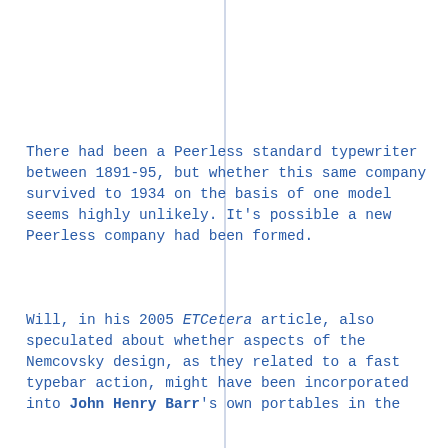There had been a Peerless standard typewriter between 1891-95, but whether this same company survived to 1934 on the basis of one model seems highly unlikely. It’s possible a new Peerless company had been formed.
Will, in his 2005 ETCetera article, also speculated about whether aspects of the Nemcovsky design, as they related to a fast typebar action, might have been incorporated into John Henry Barr’s own portables in the